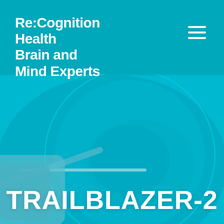Re:Cognition Health Brain and Mind Experts
[Figure (illustration): Medical/brain imaging background illustration with teal/cyan tones showing what appears to be a TMS or brain stimulation device alongside a semi-transparent brain graphic overlay on a cyan background]
TRAILBLAZER-2